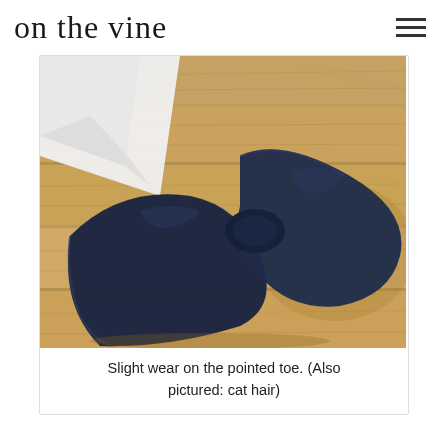on the vine
[Figure (photo): Close-up photograph of a pointed-toe navy/dark blue flat shoe or heel resting on a wooden floor. The shoe has a textured fabric upper. Natural shadows and wood grain visible. A white fabric item is partially visible at the top left.]
Slight wear on the pointed toe. (Also pictured: cat hair)